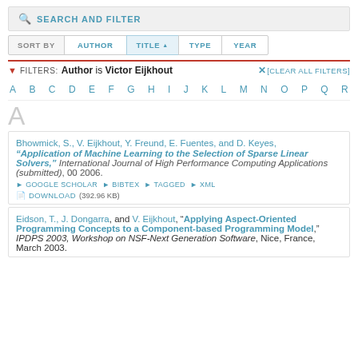SEARCH AND FILTER
SORT BY | AUTHOR | TITLE ▲ | TYPE | YEAR
FILTERS: Author is Victor Eijkhout  ✕[CLEAR ALL FILTERS]
A B C D E F G H I J K L M N O P Q R
A
Bhowmick, S., V. Eijkhout, Y. Freund, E. Fuentes, and D. Keyes, "Application of Machine Learning to the Selection of Sparse Linear Solvers," International Journal of High Performance Computing Applications (submitted), 00 2006.
▶ GOOGLE SCHOLAR  ▶ BIBTEX  ▶ TAGGED  ▶ XML
🗎 DOWNLOAD (392.96 KB)
Eidson, T., J. Dongarra, and V. Eijkhout, "Applying Aspect-Oriented Programming Concepts to a Component-based Programming Model," IPDPS 2003, Workshop on NSF-Next Generation Software, Nice, France, March 2003.